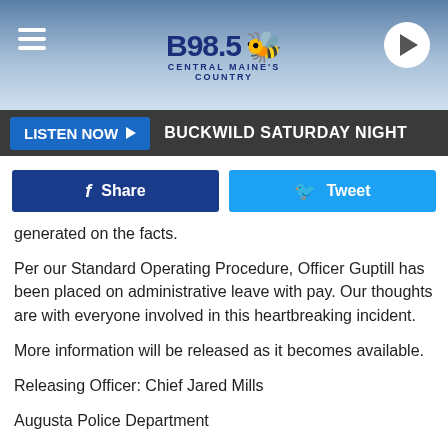B98.5 Central Maine's Country — LISTEN NOW ▶ BUCKWILD SATURDAY NIGHT
generated on the facts.
Per our Standard Operating Procedure, Officer Guptill has been placed on administrative leave with pay. Our thoughts are with everyone involved in this heartbreaking incident.
More information will be released as it becomes available.
Releasing Officer: Chief Jared Mills
Augusta Police Department
33 Union Street Augusta, Maine 04330